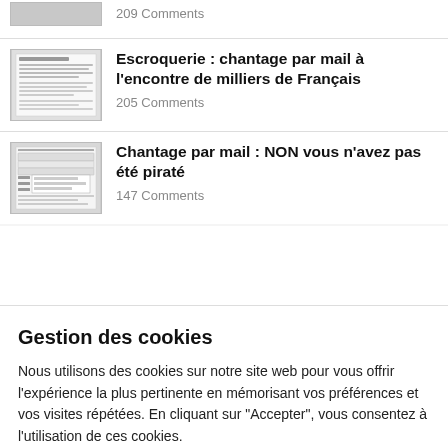209 Comments
[Figure (screenshot): Thumbnail of a document article about email scam]
Escroquerie : chantage par mail à l'encontre de milliers de Français
205 Comments
[Figure (screenshot): Thumbnail of a document article about email blackmail]
Chantage par mail : NON vous n'avez pas été piraté
147 Comments
Gestion des cookies
Nous utilisons des cookies sur notre site web pour vous offrir l'expérience la plus pertinente en mémorisant vos préférences et vos visites répétées. En cliquant sur "Accepter", vous consentez à l'utilisation de ces cookies.
Cookie settings
ACCEPTER